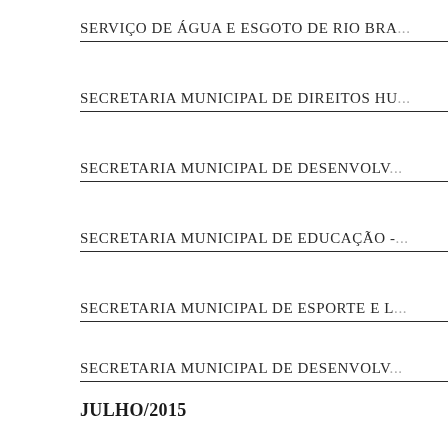SERVIÇO DE ÁGUA E ESGOTO DE RIO BRA...
SECRETARIA MUNICIPAL DE DIREITOS HU...
SECRETARIA MUNICIPAL DE DESENVOLV...
SECRETARIA MUNICIPAL DE EDUCAÇÃO -...
SECRETARIA MUNICIPAL DE ESPORTE E L...
SECRETARIA MUNICIPAL DE DESENVOLV...
JULHO/2015